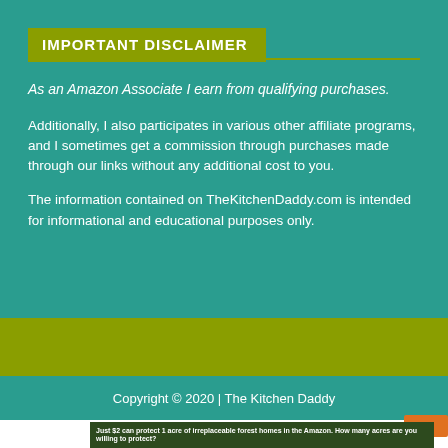IMPORTANT DISCLAIMER
As an Amazon Associate I earn from qualifying purchases.
Additionally, I also participates in various other affiliate programs, and I sometimes get a commission through purchases made through our links without any additional cost to you.
The information contained on TheKitchenDaddy.com is intended for informational and educational purposes only.
Copyright © 2020 | The Kitchen Daddy